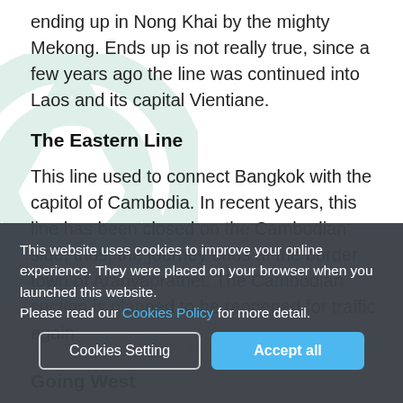ending up in Nong Khai by the mighty Mekong. Ends up is not really true, since a few years ago the line was continued into Laos and its capital Vientiane.
The Eastern Line
This line used to connect Bangkok with the capitol of Cambodia. In recent years, this line has been closed on the Cambodian side; thus, the journey ends at the border town of Aranyaprathet. The Cambodian section is planned to be reopened for traffic again ...maintains connections to your account and contact branches for heading south, but it basically is used for transporting freight to and from the big ports.
This website uses cookies to improve your online experience. They were placed on your browser when you launched this website. Please read our Cookies Policy for more detail.
Going West